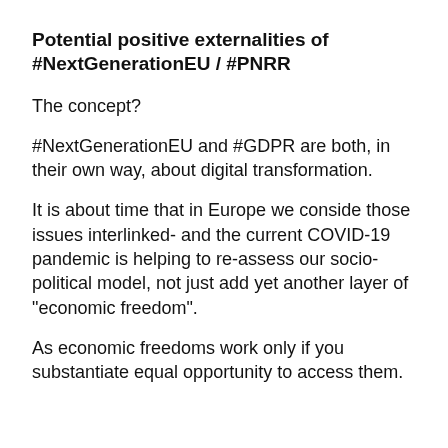Potential positive externalities of #NextGenerationEU / #PNRR
The concept?
#NextGenerationEU and #GDPR are both, in their own way, about digital transformation.
It is about time that in Europe we conside those issues interlinked- and the current COVID-19 pandemic is helping to re-assess our socio-political model, not just add yet another layer of "economic freedom".
As economic freedoms work only if you substantiate equal opportunity to access them.